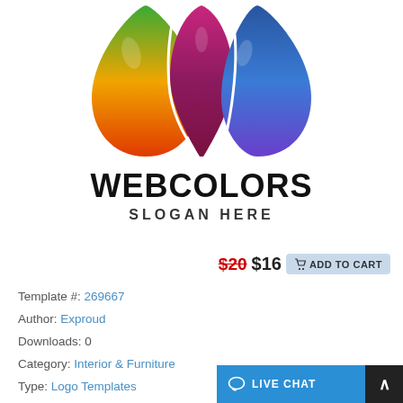[Figure (logo): Colorful W-shaped logo made of teardrop/leaf shapes in green, yellow, orange, red, pink/purple, and blue gradients on white background]
WEBCOLORS
SLOGAN HERE
$20 $16  ADD TO CART
Template #: 269667
Author: Exproud
Downloads: 0
Category: Interior & Furniture
Type: Logo Templates
LIVE CHAT